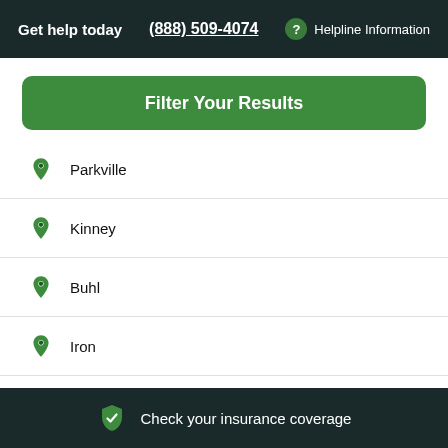Get help today  (888) 509-4074  Helpline Information
Filter Your Results
Parkville
Kinney
Buhl
Iron
Iron Junction
Check your insurance coverage